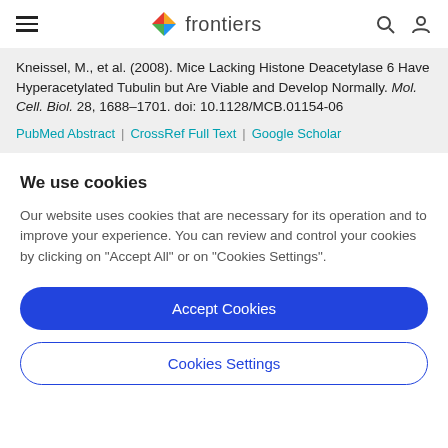frontiers
Kneissel, M., et al. (2008). Mice Lacking Histone Deacetylase 6 Have Hyperacetylated Tubulin but Are Viable and Develop Normally. Mol. Cell. Biol. 28, 1688–1701. doi: 10.1128/MCB.01154-06
PubMed Abstract | CrossRef Full Text | Google Scholar
We use cookies
Our website uses cookies that are necessary for its operation and to improve your experience. You can review and control your cookies by clicking on "Accept All" or on "Cookies Settings".
Accept Cookies
Cookies Settings